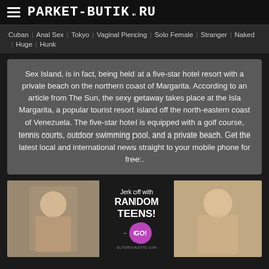PARKET-BUTIK.RU
Cuban  Anal Sex  Tokyo  Vaginal Piercing  Solo Female  Stranger  Naked  Huge  Hunk
Sex Island, is in fact, being held at a five-star hotel resort with a private beach on the northern coast of Margarita. According to an article from The Sun, the sexy getaway takes place at the Isla Margarita, a popular tourist resort island off the north-eastern coast of Venezuela. The five-star hotel is equipped with a golf course, tennis courts, outdoor swimming pool, and a private beach. Get the latest local and international news straight to your mobile phone for free:.
[Figure (photo): Adult content image strip with three panels: left panel shows a blonde woman on a sofa, center panel shows a dark banner advertisement reading 'Jerk off with RANDOM TEENS! GO!' with a purple circular button, right panel shows another image of a blonde woman.]